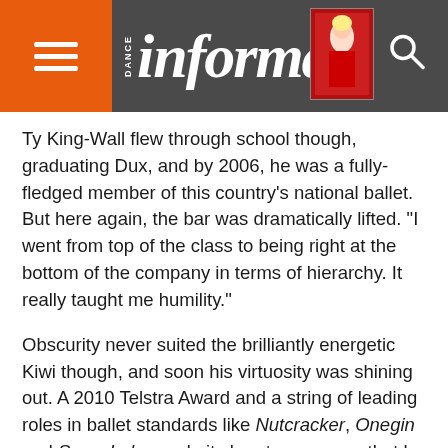Dance Informa
Ty King-Wall flew through school though, graduating Dux, and by 2006, he was a fully-fledged member of this country’s national ballet. But here again, the bar was dramatically lifted. “I went from top of the class to being right at the bottom of the company in terms of hierarchy. It really taught me humility.”
Obscurity never suited the brilliantly energetic Kiwi though, and soon his virtuosity was shining out. A 2010 Telstra Award and a string of leading roles in ballet standards like Nutcracker, Onegin and Swan Lake made it clear to everyone that he was ready to step up.
With all those critics and fans in his cheer squad it must have been
[Figure (photo): A male ballet dancer in a white long-sleeve top performing on stage against a dark blue background, arms outstretched.]